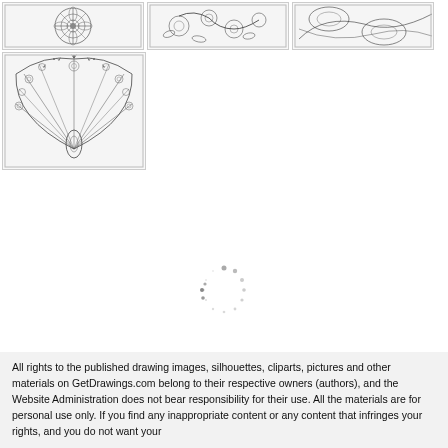[Figure (illustration): Three small thumbnail images in a row: first shows an intricate cross/mandala black-and-white drawing; second shows a floral/ornamental drawing; third shows a leaf/floral pattern drawing.]
[Figure (illustration): Large thumbnail showing a detailed black-and-white drawing of a peacock with spread feathers in mandala style.]
[Figure (other): Loading spinner — a circular arrangement of small dots indicating content is loading.]
All rights to the published drawing images, silhouettes, cliparts, pictures and other materials on GetDrawings.com belong to their respective owners (authors), and the Website Administration does not bear responsibility for their use. All the materials are for personal use only. If you find any inappropriate content or any content that infringes your rights, and you do not want your